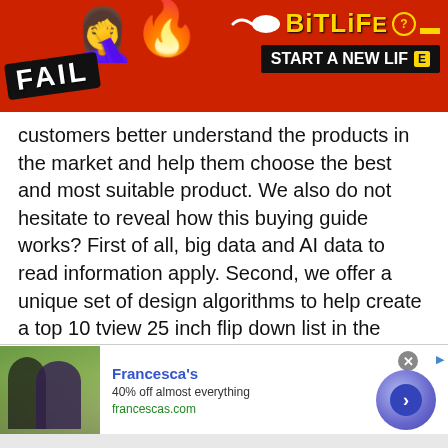[Figure (screenshot): Top advertising banner for BitLife game with red background, 'FAIL' text, animated character emoji, flames, BitLife logo with sperm icon, and 'START A NEW LIFE' button]
customers better understand the products in the market and help them choose the best and most suitable product. We also do not hesitate to reveal how this buying guide works? First of all, big data and AI data to read information apply. Second, we offer a unique set of design algorithms to help create a top 10 tview 25 inch flip down list in the market today. We rely on the following factors on list aggregation technology:
[Figure (screenshot): Bottom advertising banner for Francesca's with photo of two women, brand name in blue bold, '40% off almost everything', francescas.com URL, and circular call-to-action button with right arrow]